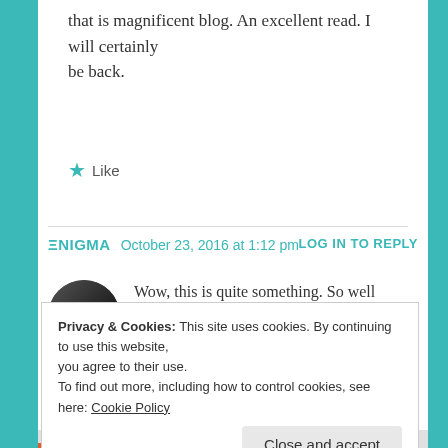that is magnificent blog. An excellent read. I will certainly be back.
★ Like
ΞNIGMA  October 23, 2016 at 1:12 pm  LOG IN TO REPLY
Wow, this is quite something. So well written. And you have an amazing blog.

Keep writing. 🙂
Privacy & Cookies: This site uses cookies. By continuing to use this website, you agree to their use.
To find out more, including how to control cookies, see here: Cookie Policy
Close and accept